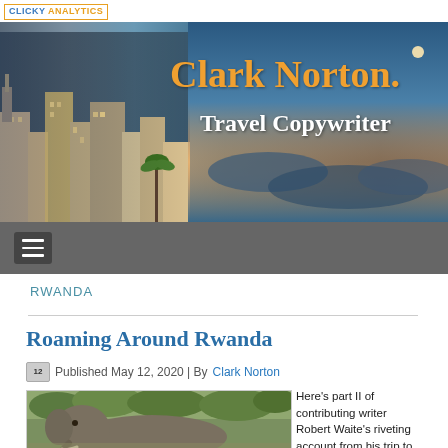[Figure (logo): Clicky Analytics logo in orange border box]
[Figure (photo): Website banner with panoramic cityscape and ocean/sky background with text Clark Norton Travel Copywriter]
[Figure (other): Gray navigation bar with hamburger menu icon]
RWANDA
Roaming Around Rwanda
Published May 12, 2020 | By Clark Norton
[Figure (photo): Close-up photo of an elephant in the wild with trees in background]
Here’s part II of contributing writer Robert Waite’s riveting account from his trip to Rwanda.